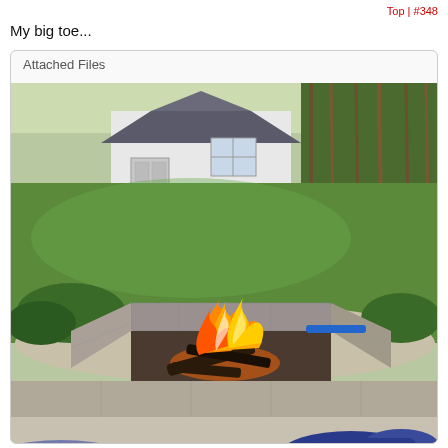Top | #348
My big toe...
Attached Files
[Figure (photo): Outdoor backyard fire pit made of stone blocks with a campfire burning inside, logs and flames visible. Green lawn and a white shed/garage in the background surrounded by trees. A blue object (lighter or tool) rests on the edge of the pit. In the foreground, a person's foot in a sneaker is visible resting near the pit.]